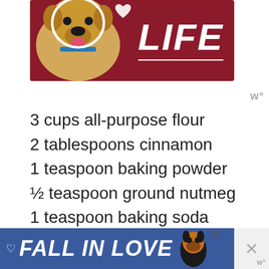[Figure (photo): Advertisement banner showing a golden labrador dog on a dark red/maroon background with large white italic text reading 'LIFE']
3 cups all-purpose flour
2 tablespoons cinnamon
1 teaspoon baking powder
½ teaspoon ground nutmeg
1 teaspoon baking soda
2 cups granulated sugar
1 teaspoon salt
1 cup vegetable shortening
[Figure (photo): Bottom advertisement banner with blue background showing 'FALL IN LOVE' text with a dog image]